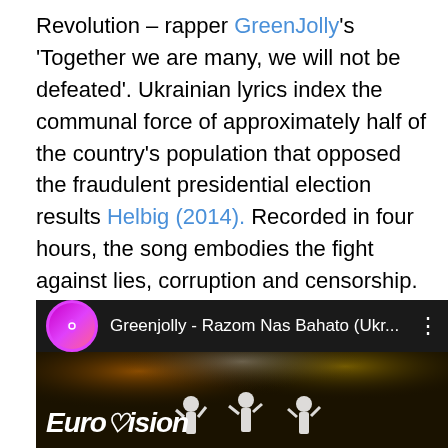Revolution – rapper GreenJolly's 'Together we are many, we will not be defeated'. Ukrainian lyrics index the communal force of approximately half of the country's population that opposed the fraudulent presidential election results Helbig (2014). Recorded in four hours, the song embodies the fight against lies, corruption and censorship. The Orange Revolution achieved its re-election goal through peaceful means, and musically it marked a victory for Ukrainian-language songs, especially rock and hip-hop, over Soviet-style and commercial Russian-language pop associated with the Yanukovych campaign, argues Klid (2007, 131).
[Figure (screenshot): YouTube video thumbnail for 'Greenjolly - Razom Nas Bahato (Ukr...' showing a purple heart YouTube icon on dark background and stage performance with Eurovision logo]